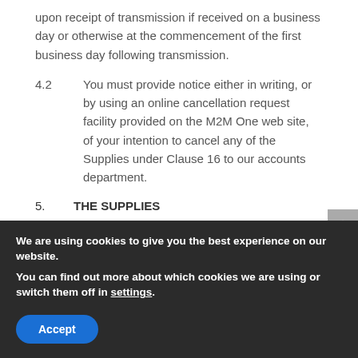upon receipt of transmission if received on a business day or otherwise at the commencement of the first business day following transmission.
4.2	You must provide notice either in writing, or by using an online cancellation request facility provided on the M2M One web site, of your intention to cancel any of the Supplies under Clause 16 to our accounts department.
5.	THE SUPPLIES
5.1	We will use our reasonable commercial endeavours to provide you with the Supplies you
We are using cookies to give you the best experience on our website.
You can find out more about which cookies we are using or switch them off in settings.
Accept